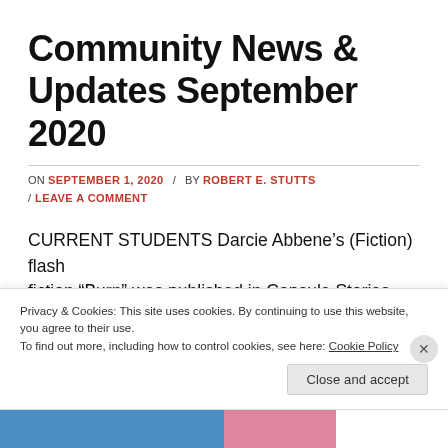Community News & Updates September 2020
ON SEPTEMBER 1, 2020 / BY ROBERT E. STUTTS
/ LEAVE A COMMENT
CURRENT STUDENTS Darcie Abbene's (Fiction) flash fiction “Burn” was published in Capsule Stories Autumn
Privacy & Cookies: This site uses cookies. By continuing to use this website, you agree to their use. To find out more, including how to control cookies, see here: Cookie Policy
Close and accept